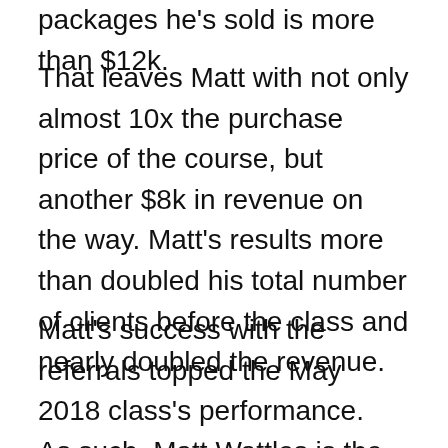packages he's sold is more than $12k.
That leaves Matt with not only almost 10x the purchase price of the course, but another $8k in revenue on the way. Matt's results more than doubled his total number of clients before the class and nearly doubled the revenue.
Matt's success with the referrals topped the May 2018 class's performance.  As such, Matt Wattles is the May 2018 AUTO-CLOSER® Class Winner, and entitled to a